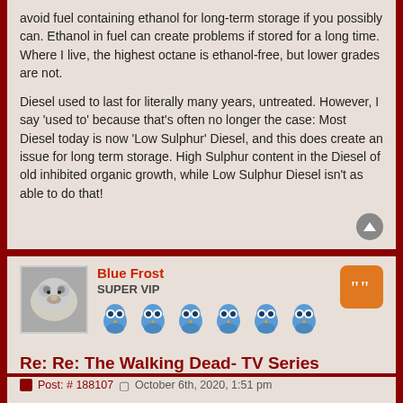avoid fuel containing ethanol for long-term storage if you possibly can. Ethanol in fuel can create problems if stored for a long time. Where I live, the highest octane is ethanol-free, but lower grades are not.

Diesel used to last for literally many years, untreated. However, I say 'used to' because that's often no longer the case: Most Diesel today is now 'Low Sulphur' Diesel, and this does create an issue for long term storage. High Sulphur content in the Diesel of old inhibited organic growth, while Low Sulphur Diesel isn't as able to do that!
Blue Frost
SUPER VIP
Re: Re: The Walking Dead- TV Series
Post: # 188107  October 6th, 2020, 1:51 pm
I never empty my lawn stuff, or cars for the winter, I just start them every week, or two.
Seems just starting them heating it up a little burns off the water well for me.

As Mel mentioned Ethanol creates issues, and also it's a scam when they use it, and add detergents in the gas.
It fouls your engine, and contrary to what people tell you it isn't geed